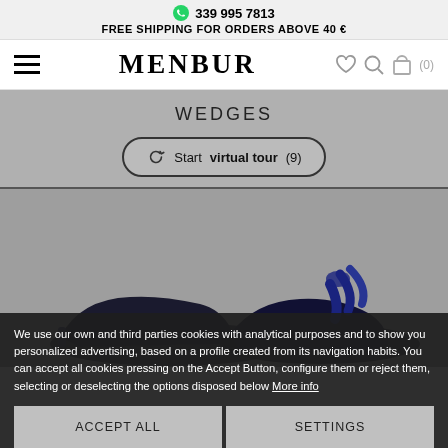339 995 7813
FREE SHIPPING FOR ORDERS ABOVE 40 €
MENBUR
WEDGES
Start virtual tour (9)
[Figure (photo): Product photo of dark navy blue wedge shoes/sandals on a grey background]
We use our own and third parties cookies with analytical purposes and to show you personalized advertising, based on a profile created from its navigation habits. You can accept all cookies pressing on the Accept Button, configure them or reject them, selecting or deselecting the options disposed below More info
ACCEPT ALL
SETTINGS